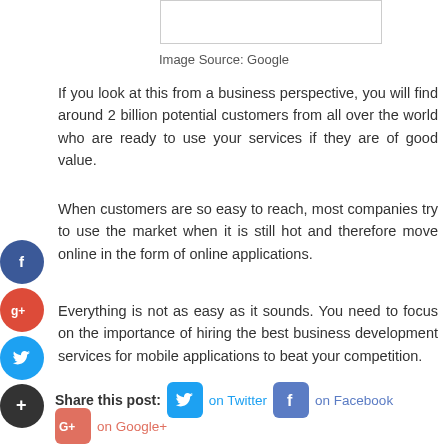[Figure (other): White rectangle image placeholder box]
Image Source: Google
If you look at this from a business perspective, you will find around 2 billion potential customers from all over the world who are ready to use your services if they are of good value.
When customers are so easy to reach, most companies try to use the market when it is still hot and therefore move online in the form of online applications.
Everything is not as easy as it sounds. You need to focus on the importance of hiring the best business development services for mobile applications to beat your competition.
Share this post: on Twitter on Facebook on Google+